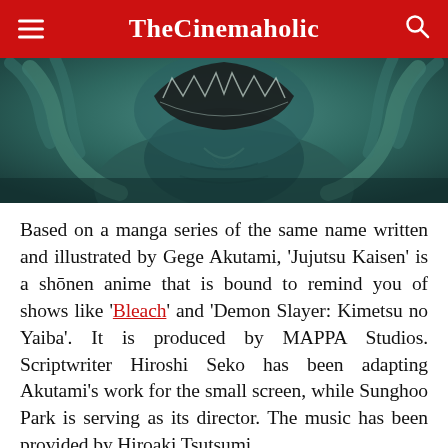TheCinemaholic
[Figure (illustration): Anime screenshot showing a large monster/demon figure with a gaping mouth and hands, rendered in teal/dark green tones. From Jujutsu Kaisen.]
Based on a manga series of the same name written and illustrated by Gege Akutami, 'Jujutsu Kaisen' is a shōnen anime that is bound to remind you of shows like 'Bleach' and 'Demon Slayer: Kimetsu no Yaiba'. It is produced by MAPPA Studios. Scriptwriter Hiroshi Seko has been adapting Akutami's work for the small screen, while Sunghoo Park is serving as its director. The music has been provided by Hiroaki Tsutsumi.